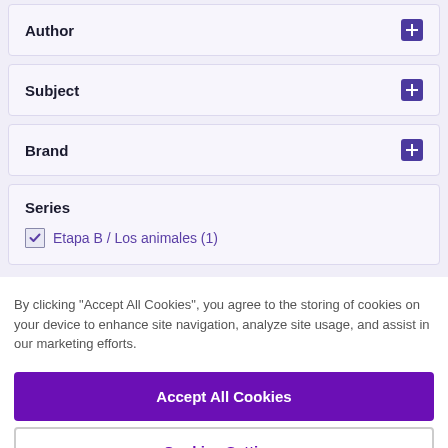Author +
Subject +
Brand +
Series
Etapa B / Los animales (1)
By clicking “Accept All Cookies”, you agree to the storing of cookies on your device to enhance site navigation, analyze site usage, and assist in our marketing efforts.
Accept All Cookies
Cookies Settings